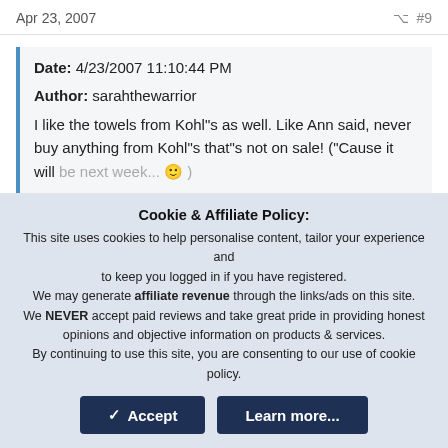Apr 23, 2007  #9
Date: 4/23/2007 11:10:44 PM
Author: sarahthewarrior
I like the towels from Kohl"s as well. Like Ann said, never buy anything from Kohl"s that"s not on sale! ("Cause it will be next week... 🙂 )
Click to expand...
DH has some towels from before we met that have held up too
Cookie & Affiliate Policy:
This site uses cookies to help personalise content, tailor your experience and to keep you logged in if you have registered.
We may generate affiliate revenue through the links/ads on this site.
We NEVER accept paid reviews and take great pride in providing honest opinions and objective information on products & services.
By continuing to use this site, you are consenting to our use of cookie policy.